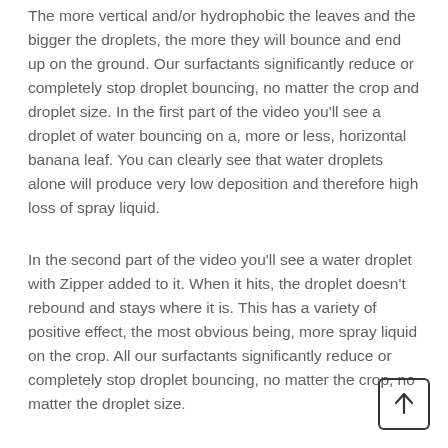The more vertical and/or hydrophobic the leaves and the bigger the droplets, the more they will bounce and end up on the ground. Our surfactants significantly reduce or completely stop droplet bouncing, no matter the crop and droplet size. In the first part of the video you'll see a droplet of water bouncing on a, more or less, horizontal banana leaf. You can clearly see that water droplets alone will produce very low deposition and therefore high loss of spray liquid.
In the second part of the video you'll see a water droplet with Zipper added to it. When it hits, the droplet doesn't rebound and stays where it is. This has a variety of positive effect, the most obvious being, more spray liquid on the crop. All our surfactants significantly reduce or completely stop droplet bouncing, no matter the crop, no matter the droplet size.
[Figure (other): Back to top button — a square rounded-corner button with an upward-pointing arrow icon]